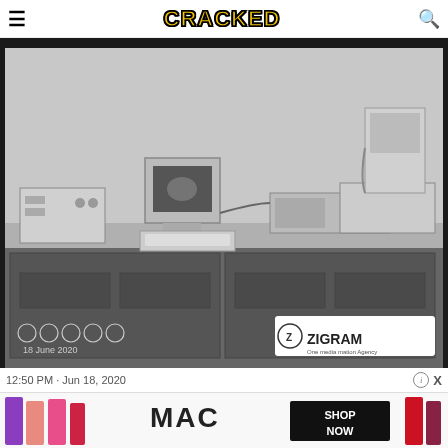CRACKED
[Figure (photo): Black and white photograph of vintage computer equipment (early personal computer with monitor, keyboard, and peripheral laboratory/scientific equipment) on a desk. Dated 18 June 2020. Zigram logo visible in bottom right corner with social media icons in bottom left.]
12:50 PM · Jun 18, 2020
[Figure (photo): MAC cosmetics advertisement showing lipsticks in purple, pink, and red colors on left, MAC logo text in center, and a black box with 'SHOP NOW' text on right.]